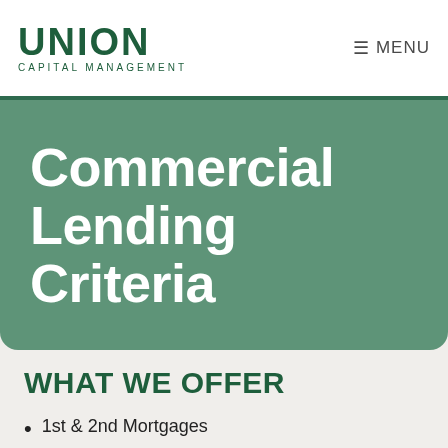UNION CAPITAL MANAGEMENT | MENU
Commercial Lending Criteria
WHAT WE OFFER
1st & 2nd Mortgages
75% Loan to Value
Rates starting from 9.99% in 1st position and